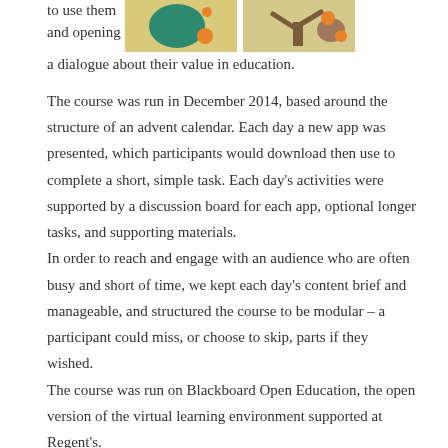to use them and opening
[Figure (illustration): Two illustrated app icons on a yellowish/tan background, showing colorful cartoon-style images]
a dialogue about their value in education.
The course was run in December 2014, based around the structure of an advent calendar. Each day a new app was presented, which participants would download then use to complete a short, simple task. Each day's activities were supported by a discussion board for each app, optional longer tasks, and supporting materials.
In order to reach and engage with an audience who are often busy and short of time, we kept each day's content brief and manageable, and structured the course to be modular – a participant could miss, or choose to skip, parts if they wished.
The course was run on Blackboard Open Education, the open version of the virtual learning environment supported at Regent's.
12 Apps of Christmas is available under a Creative Commons